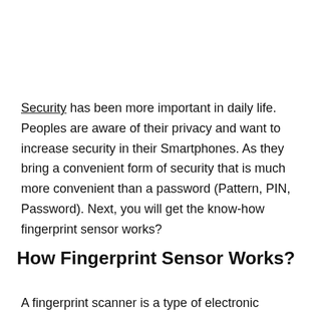Security has been more important in daily life. Peoples are aware of their privacy and want to increase security in their Smartphones. As they bring a convenient form of security that is much more convenient than a password (Pattern, PIN, Password). Next, you will get the know-how fingerprint sensor works?
How Fingerprint Sensor Works?
A fingerprint scanner is a type of electronic security